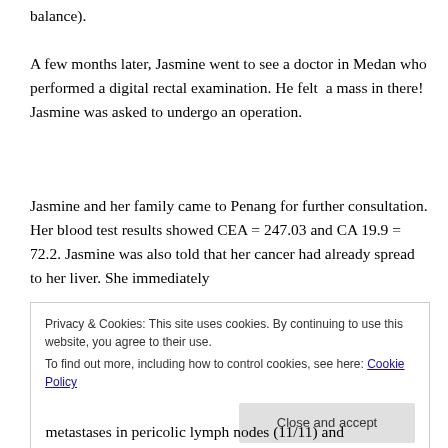balance).
A few months later, Jasmine went to see a doctor in Medan who performed a digital rectal examination. He felt a mass in there! Jasmine was asked to undergo an operation.
Jasmine and her family came to Penang for further consultation. Her blood test results showed CEA = 247.03 and CA 19.9 = 72.2. Jasmine was also told that her cancer had already spread to her liver. She immediately
Privacy & Cookies: This site uses cookies. By continuing to use this website, you agree to their use.
To find out more, including how to control cookies, see here: Cookie Policy
metastases in pericolic lymph nodes (11/11) and